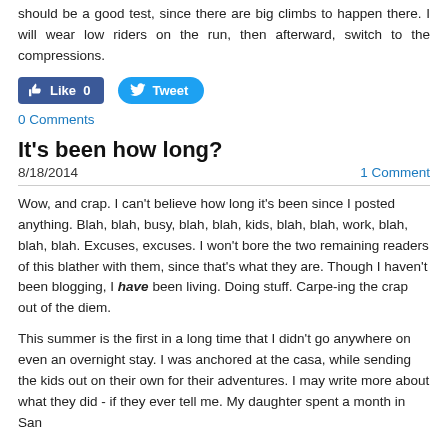should be a good test, since there are big climbs to happen there. I will wear low riders on the run, then afterward, switch to the compressions.
[Figure (other): Social media buttons: Facebook Like (0) and Twitter Tweet]
0 Comments
It's been how long?
8/18/2014     1 Comment
Wow, and crap. I can't believe how long it's been since I posted anything. Blah, blah, busy, blah, blah, kids, blah, blah, work, blah, blah, blah. Excuses, excuses. I won't bore the two remaining readers of this blather with them, since that's what they are. Though I haven't been blogging, I have been living. Doing stuff. Carpe-ing the crap out of the diem.
This summer is the first in a long time that I didn't go anywhere on even an overnight stay. I was anchored at the casa, while sending the kids out on their own for their adventures. I may write more about what they did - if they ever tell me. My daughter spent a month in San